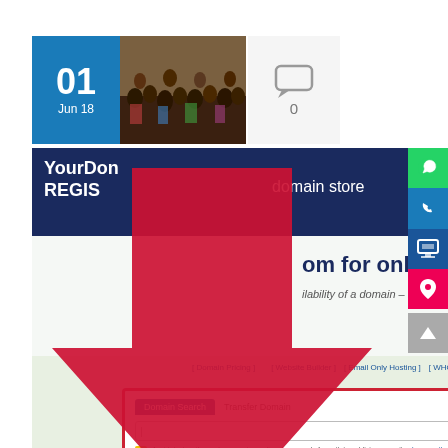[Figure (screenshot): Blog post card showing a date block (01 Jun 18), a crowd photo thumbnail, a comment bubble with 0 comments, overlaid with a screenshot of a domain registrar website (YourDomain Registrar) featuring navigation, hero text about .com domains for $15.00/yr, domain search box with red border, and a large red arrow pointing to the search box. Right sidebar shows WhatsApp, phone, remote, and location icons.]
Steps to Register a Successful